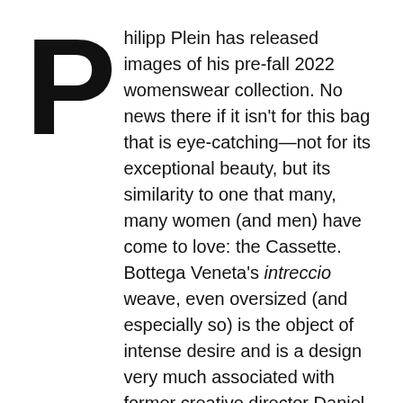Philipp Plein has released images of his pre-fall 2022 womenswear collection. No news there if it isn't for this bag that is eye-catching—not for its exceptional beauty, but its similarity to one that many, many women (and men) have come to love: the Cassette. Bottega Veneta's intreccio weave, even oversized (and especially so) is the object of intense desire and is a design very much associated with former creative director Daniel Lee. The German label's version is not only imitative; it is a cheap-looking, floppy version of the original. What is especially shocking is the similarity of the colour too—not the Bottega Green, but this pale teal. Plonking the hideous logo right in the centre-bottom of the flap does not indicate that this bag is a work of total newness.